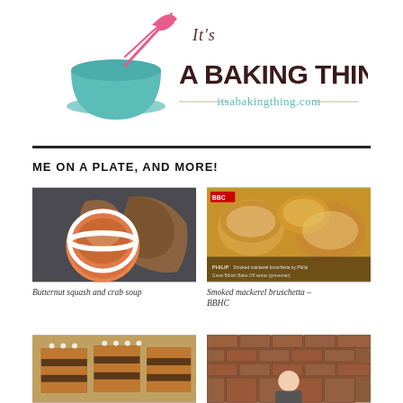[Figure (logo): It's A Baking Thing logo with teal mixing bowl, pink whisk, and website itsabakingthing.com]
ME ON A PLATE, AND MORE!
[Figure (photo): Butternut squash and crab soup with bread pieces on dark slate background]
Butternut squash and crab soup
[Figure (photo): Smoked mackerel bruschetta with BBC watermark and PHILIP caption]
Smoked mackerel bruschetta – BBHC
[Figure (photo): Chocolate layered dessert bars arranged in a row]
[Figure (photo): Person standing in front of a brick wall]